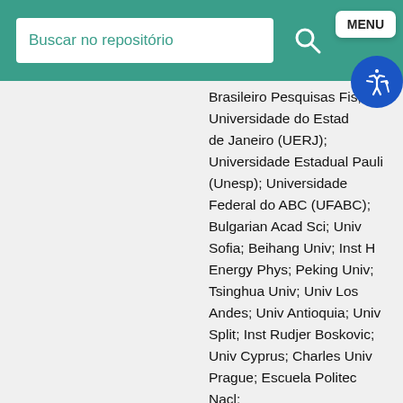Buscar no repositório
Brasileiro Pesquisas Fis; Universidade do Estado de Janeiro (UERJ); Universidade Estadual Paulista (Unesp); Universidade Federal do ABC (UFABC); Bulgarian Acad Sci; Univ Sofia; Beihang Univ; Inst High Energy Phys; Peking Univ; Tsinghua Univ; Univ Los Andes; Univ Antioquia; Univ Split; Inst Rudjer Boskovic; Univ Cyprus; Charles Univ Prague; Escuela Politec Nacl; Univ San Francisco Quito; Egyptian Network High Energy Phys; NICPB; Univ Helsinki; Helsinki Inst Phys; Lappeenranta Univ Technol; Univ Paris Saclay; Univ Strasbourg; Ctr Calcul Inst Natl Phys Nucl & Phys Particules; Univ Lyon; Georgian Tech Univ; Tbilisi State Univ; Rhein Westfal TH Aachen; Deutch Elektronen Synchrotron; Univ Hamburg; Karlsruher Inst Technol; INPP; Natl & Kapodistrian Univ Athens; Natl Tech Univ Athens; Univ Ioannina; Eotvos Lorand Univ; Wigner Res Ctr Phys; Inst Nucl Res ATOMKI; Univ Debrecen; Indian Inst Sci IISc; Natl Inst Sci Educ Res; Panjab Univ; Univ Delhi; Tata Inst Fundamental Res; Tamil Nadu